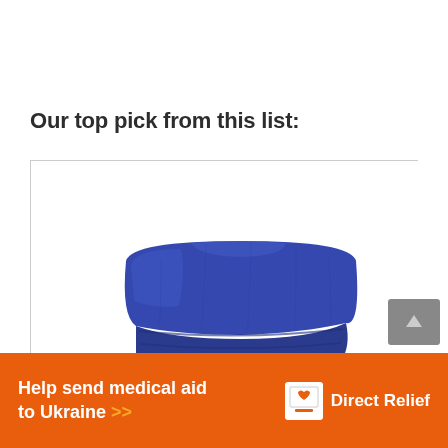Our top pick from this list:
[Figure (photo): A folded blue plush weighted blanket on a white background, shown inside a light gray bordered product card box.]
[Figure (infographic): Orange advertisement banner reading 'Help send medical aid to Ukraine >>' with the Direct Relief logo (white box with heart icon) and brand name in white text.]